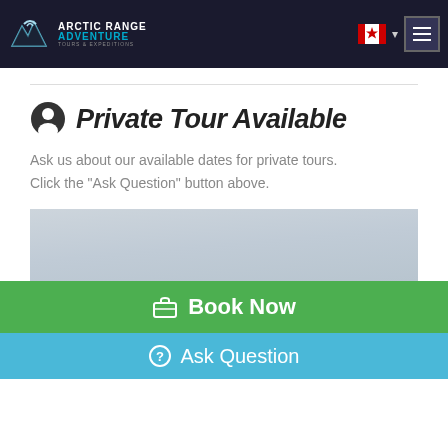Arctic Range Adventure – navigation bar with logo, Canadian flag, and menu button
Private Tour Available
Ask us about our available dates for private tours.
Click the "Ask Question" button above.
[Figure (photo): Overcast sky photo, light grey tones]
Book Now
Ask Question